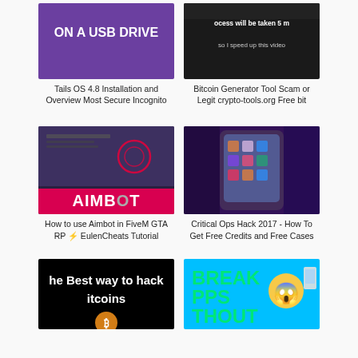[Figure (screenshot): Video thumbnail showing purple background with text 'ON A USB DRIVE' in white bold letters]
Tails OS 4.8 Installation and Overview Most Secure Incognito
[Figure (screenshot): Video thumbnail showing dark background with text 'ocess will be taken 5 m' and 'so I speed up this video']
Bitcoin Generator Tool Scam or Legit crypto-tools.org Free bit
[Figure (screenshot): Video thumbnail showing gaming screenshot with pink AIMBOT text at the bottom]
How to use Aimbot in FiveM GTA RP ⚡ EulenCheats Tutorial
[Figure (screenshot): Video thumbnail showing a hand holding an iPhone displaying app icons, purple lighting]
Critical Ops Hack 2017 - How To Get Free Credits and Free Cases
[Figure (screenshot): Video thumbnail with black background and white text 'he Best way to hack itcoins']
[Figure (screenshot): Video thumbnail showing colorful text 'BREAK PPS THOUT' with a shocked emoji face and phone icons]